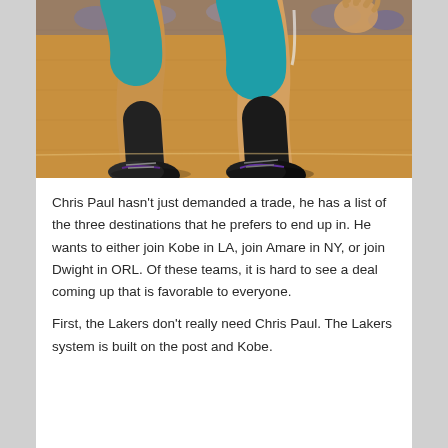[Figure (photo): Close-up photo of a basketball player's legs and sneakers on a hardwood court. The player is wearing teal/turquoise shorts and black socks with black and purple sneakers. The court has a warm orange-yellow hardwood floor visible in the background.]
Chris Paul hasn't just demanded a trade, he has a list of the three destinations that he prefers to end up in. He wants to either join Kobe in LA, join Amare in NY, or join Dwight in ORL. Of these teams, it is hard to see a deal coming up that is favorable to everyone.
First, the Lakers don't really need Chris Paul. The Lakers system is built on the post and Kobe.